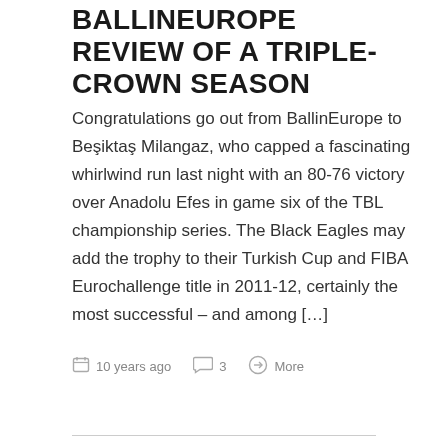BALLINEUROPE REVIEW OF A TRIPLE-CROWN SEASON
Congratulations go out from BallinEurope to Beşiktaş Milangaz, who capped a fascinating whirlwind run last night with an 80-76 victory over Anadolu Efes in game six of the TBL championship series. The Black Eagles may add the trophy to their Turkish Cup and FIBA Eurochallenge title in 2011-12, certainly the most successful – and among […]
10 years ago   3   More